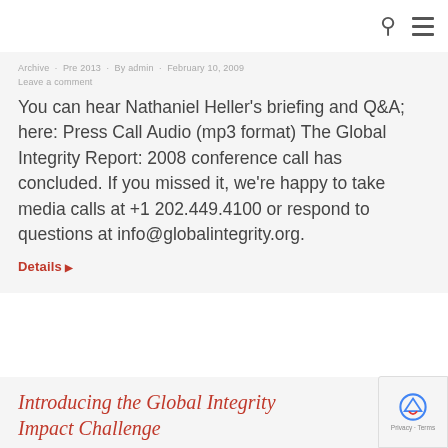Archive · Pre 2013 · By admin · February 10, 2009
Leave a comment
You can hear Nathaniel Heller's briefing and Q&A; here: Press Call Audio (mp3 format) The Global Integrity Report: 2008 conference call has concluded. If you missed it, we're happy to take media calls at +1 202.449.4100 or respond to questions at info@globalintegrity.org.
Details ▶
Introducing the Global Integrity Impact Challenge